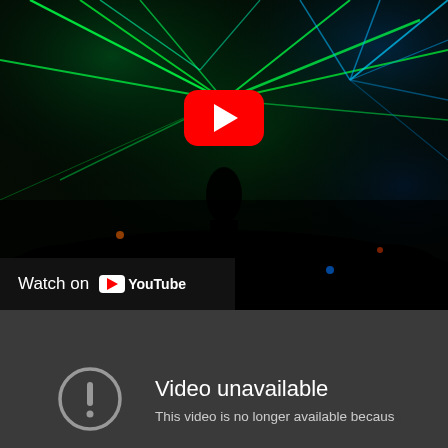[Figure (screenshot): YouTube video thumbnail showing a dark nightclub/concert scene with green and blue laser beams radiating from the center-top area, with silhouettes of people. A red YouTube play button is centered in the upper portion. A 'Watch on YouTube' bar appears at the bottom-left of the video area.]
Watch on YouTube
Video unavailable
This video is no longer available because